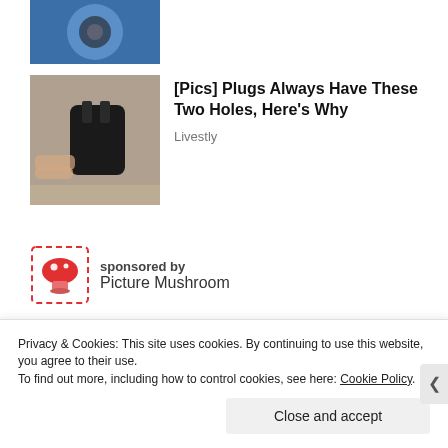[Figure (photo): Partially visible thumbnail image at top, showing a blue-tinted object]
[Figure (photo): Thumbnail photo of a black electrical plug held by fingers]
[Pics] Plugs Always Have These Two Holes, Here's Why
Livestly
sponsored by
Picture Mushroom
[Figure (logo): Picture Mushroom app icon: red mushroom inside a red dashed square frame]
[Figure (other): White ad placeholder box with border]
Privacy & Cookies: This site uses cookies. By continuing to use this website, you agree to their use.
To find out more, including how to control cookies, see here: Cookie Policy
Close and accept